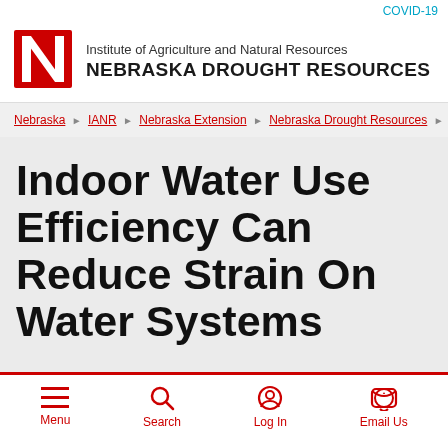COVID-19
[Figure (logo): University of Nebraska red N logo]
Institute of Agriculture and Natural Resources
NEBRASKA DROUGHT RESOURCES
Nebraska > IANR > Nebraska Extension > Nebraska Drought Resources > Indoor
Indoor Water Use Efficiency Can Reduce Strain On Water Systems
Menu  Search  Log In  Email Us